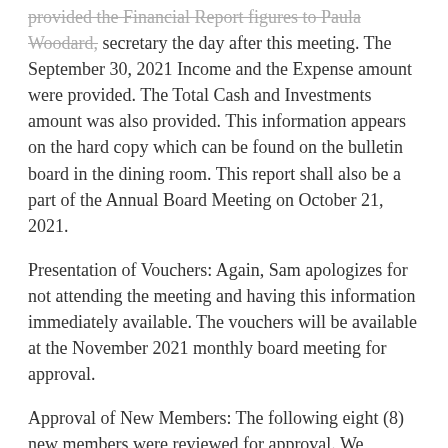provided the Financial Report figures to Paula Woodard, secretary the day after this meeting. The September 30, 2021 Income and the Expense amount were provided. The Total Cash and Investments amount was also provided. This information appears on the hard copy which can be found on the bulletin board in the dining room. This report shall also be a part of the Annual Board Meeting on October 21, 2021.
Presentation of Vouchers: Again, Sam apologizes for not attending the meeting and having this information immediately available. The vouchers will be available at the November 2021 monthly board meeting for approval.
Approval of New Members: The following eight (8) new members were reviewed for approval. We welcome new members: Dennis & Connie Hotz, Deith & Georgia Denton, Jeff & Ruth Kreger, Matthew & Sarah Kuhlmann, John Vitols, Tom & Kathy Whannell, Jeff & Patricia Gonsior and Tom &